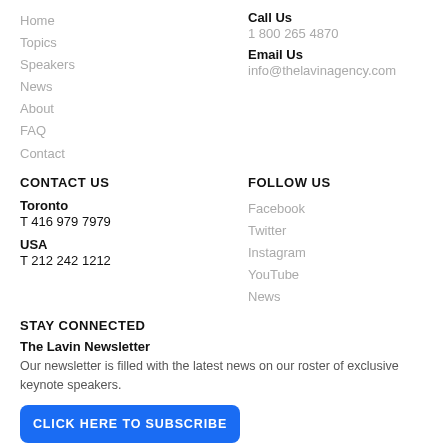Home
Topics
Speakers
News
About
FAQ
Contact
Call Us
1 800 265 4870
Email Us
info@thelavinagency.com
CONTACT US
FOLLOW US
Toronto
T 416 979 7979
USA
T 212 242 1212
Facebook
Twitter
Instagram
YouTube
News
STAY CONNECTED
The Lavin Newsletter
Our newsletter is filled with the latest news on our roster of exclusive keynote speakers.
CLICK HERE TO SUBSCRIBE